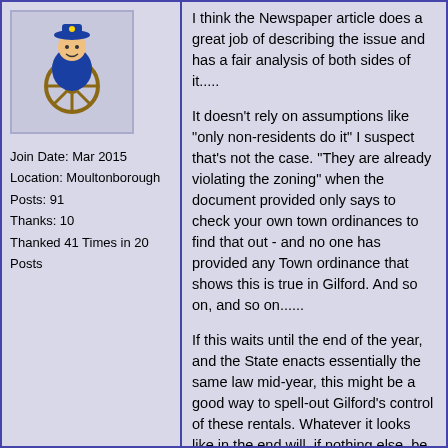[Figure (illustration): Forum user avatar showing a cartoon character with a ship's wheel, wearing a blue outfit with a hat]
Join Date: Mar 2015
Location: Moultonborough
Posts: 91
Thanks: 10
Thanked 41 Times in 20 Posts
I think the Newspaper article does a great job of describing the issue and has a fair analysis of both sides of it.....
It doesn't rely on assumptions like "only non-residents do it" I suspect that's not the case. "They are already violating the zoning" when the document provided only says to check your own town ordinances to find that out - and no one has provided any Town ordinance that shows this is true in Gilford. And so on, and so on......
If this waits until the end of the year, and the State enacts essentially the same law mid-year, this might be a good way to spell-out Gilford's control of these rentals. Whatever it looks like in the end will, if nothing else, be spelled out and everybody can work from the same playbook.